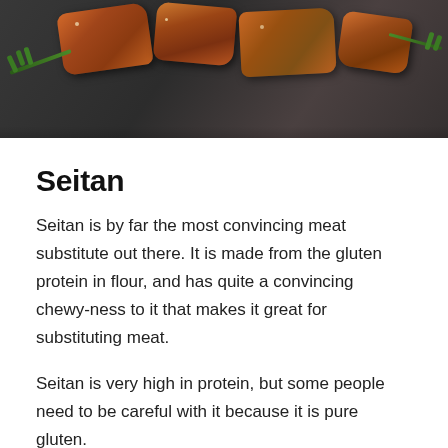[Figure (photo): Close-up photo of seasoned seitan pieces on a dark slate surface with rosemary herbs]
Seitan
Seitan is by far the most convincing meat substitute out there. It is made from the gluten protein in flour, and has quite a convincing chewy-ness to it that makes it great for substituting meat.
Seitan is very high in protein, but some people need to be careful with it because it is pure gluten.
You can buy gluten flour from health food and vegan stores. It is not to be confused with normal flour with